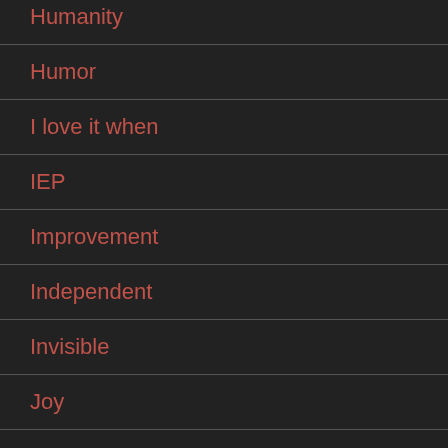Humanity
Humor
I love it when
IEP
Improvement
Independent
Invisible
Joy
Judgement